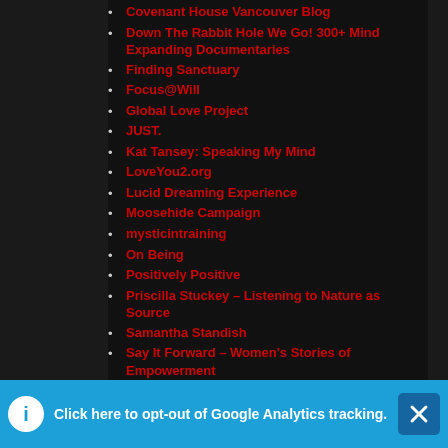Covenant House Vancouver Blog
Down The Rabbit Hole We Go! 300+ Mind Expanding Documentaries
Finding Sanctuary
Focus@Will
Global Love Project
JUST.
Kat Tansey: Speaking My Mind
LoveYou2.org
Lucid Dreaming Experience
Moosehide Campaign
mysticintraining
On Being
Positively Positive
Priscilla Stuckey – Listening to Nature as Source
Samantha Standish
Say It Forward – Women's Stories of Empowerment
Secrets To Peace: Tips, Tricks, and Wisdom for Living in Peace
Selected Peer-Reviewed Publications on Psi
Click here to opt-out of Google Analytics tracking.